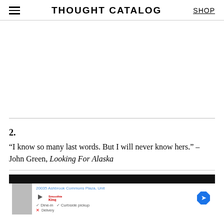THOUGHT CATALOG | SHOP
2.
“I know so many last words. But I will never know hers.” – John Green, Looking For Alaska
[Figure (screenshot): Advertisement showing a map/local business listing for Smoothie King at 20035 Ashbrook Commons Plaza with Dine-in and Curbside pickup options]